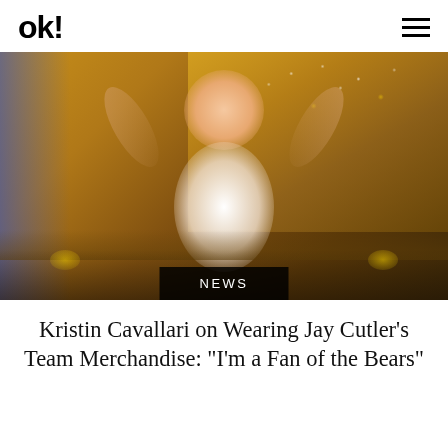OK!
[Figure (photo): Woman with arms raised in celebration on a glittery stage, wearing a white dress, on what appears to be a Dancing with the Stars set]
NEWS
Kristin Cavallari on Wearing Jay Cutler's Team Merchandise: "I'm a Fan of the Bears"